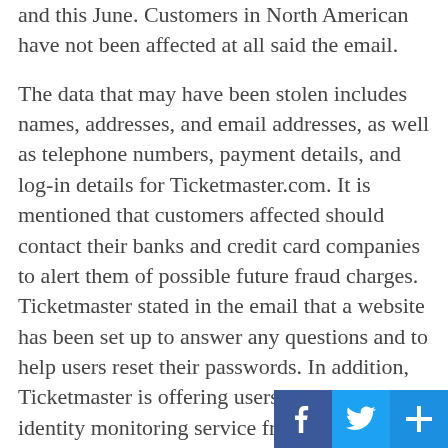and this June. Customers in North American have not been affected at all said the email.
The data that may have been stolen includes names, addresses, and email addresses, as well as telephone numbers, payment details, and log-in details for Ticketmaster.com. It is mentioned that customers affected should contact their banks and credit card companies to alert them of possible future fraud charges. Ticketmaster stated in the email that a website has been set up to answer any questions and to help users reset their passwords. In addition, Ticketmaster is offering users a 12-month identity monitoring service free of charge. In order to figure out how the data was obtained, Ticketmaster claims that “forensic teams and security experts are working around the clock” and are “working with the